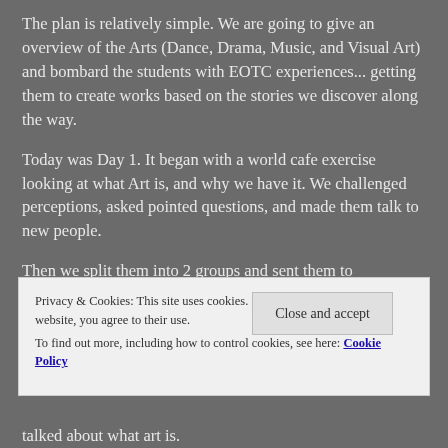The plan is relatively simple. We are going to give an overview of the Arts (Dance, Drama, Music, and Visual Art) and bombard the students with EOTC experiences... getting them to create works based on the stories we discover along the way.
Today was Day 1. It began with a world cafe exercise looking at what Art is, and why we have it. We challenged perceptions, asked pointed questions, and made them talk to new people.
Then we split them into 2 groups and sent them to
Privacy & Cookies: This site uses cookies. By continuing to use this website, you agree to their use.
To find out more, including how to control cookies, see here: Cookie Policy
Close and accept
talked about what art is.